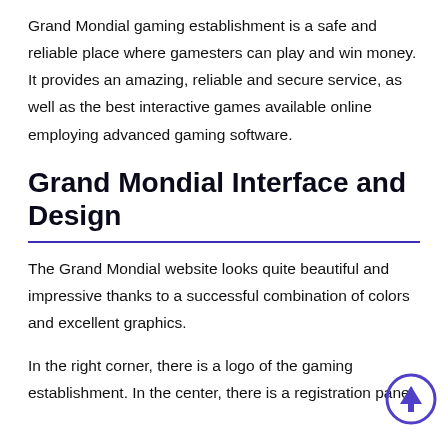Grand Mondial gaming establishment is a safe and reliable place where gamesters can play and win money. It provides an amazing, reliable and secure service, as well as the best interactive games available online employing advanced gaming software.
Grand Mondial Interface and Design
The Grand Mondial website looks quite beautiful and impressive thanks to a successful combination of colors and excellent graphics.
In the right corner, there is a logo of the gaming establishment. In the center, there is a registration panel
[Figure (illustration): A circular arrow icon pointing upward, outlined in purple/indigo, located in the bottom-right corner of the page.]